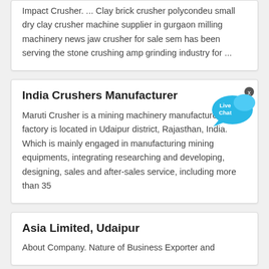Impact Crusher. ... Clay brick crusher polycondeu small dry clay crusher machine supplier in gurgaon milling machinery news jaw crusher for sale sem has been serving the stone crushing amp grinding industry for ...
India Crushers Manufacturer
Maruti Crusher is a mining machinery manufacturer, our factory is located in Udaipur district, Rajasthan, India. Which is mainly engaged in manufacturing mining equipments, integrating researching and developing, designing, sales and after-sales service, including more than 35
Asia Limited, Udaipur
About Company. Nature of Business Exporter and